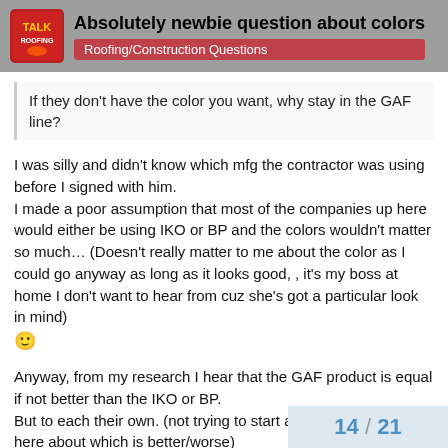Absolutely newbie question about colors | Roofing/Construction Questions
If they don't have the color you want, why stay in the GAF line?
I was silly and didn't know which mfg the contractor was using before I signed with him.
I made a poor assumption that most of the companies up here would either be using IKO or BP and the colors wouldn't matter so much… (Doesn't really matter to me about the color as I could go anyway as long as it looks good, , it's my boss at home I don't want to hear from cuz she's got a particular look in mind) 🙂
Anyway, from my research I hear that the GAF product is equal if not better than the IKO or BP.
But to each their own. (not trying to start a product discussion here about which is better/worse)
14 / 21